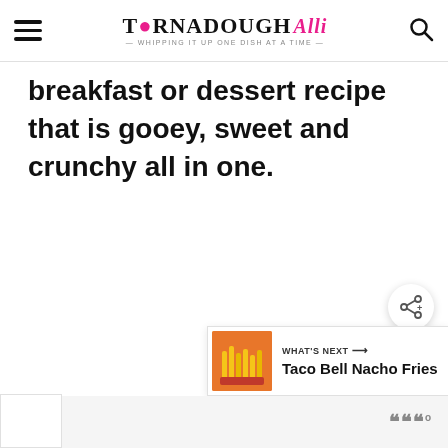TORNADOUGH Alli — Whipping it up one dish at a time
breakfast or dessert recipe that is gooey, sweet and crunchy all in one.
[Figure (infographic): Share button (circular with share icon)]
[Figure (infographic): What's Next panel with Taco Bell Nacho Fries thumbnail and text]
[Figure (other): Bottom strip with dots and degree symbol, and white box on lower left]